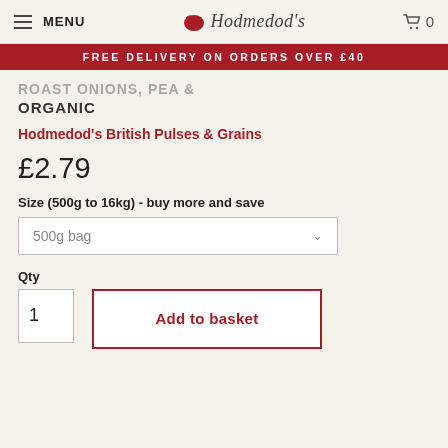MENU | Hodmedod's | 0
FREE DELIVERY ON ORDERS OVER £40
ORGANIC
Hodmedod's British Pulses & Grains
£2.79
Size (500g to 16kg) - buy more and save
500g bag
Qty
1
Add to basket